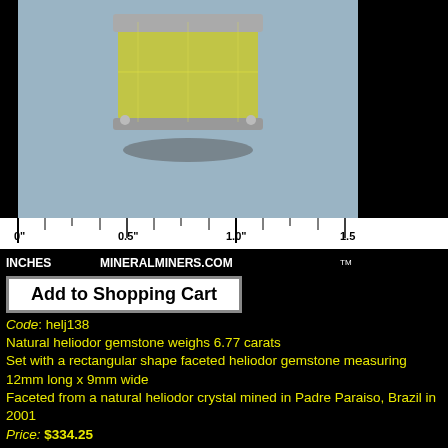[Figure (photo): Photo of a yellow-green heliodor gemstone pendant set in silver, shown against a light blue-gray background, with a ruler scale below showing 0 to 1.5 inches. Ruler reads: 0" | 0.5" | 1.0" | 1.5 with INCHES MINERALMINERS.COM TM]
Add to Shopping Cart
Code: helj138
Natural heliodor gemstone weighs 6.77 carats
Set with a rectangular shape faceted heliodor gemstone measuring 12mm long x 9mm wide
Faceted from a natural heliodor crystal mined in Padre Paraiso, Brazil in 2001
Price: $334.25
This lightly included heliodor pendant was handcrafted in 925 sterling silver and set with a faceted 12x9mm rectangular shape heliodor gemstone with very rich yellow natural color.
This beautiful heliodor gem actually faces up clean, and it has faintly visible natural inclusions inside when examined more closely. See also a side view of this natural color heliodor pendant. This genuine heliodor pendant is shown with an 18 inch sterling silver chain necklace which will be included at no extra charge.